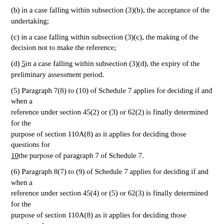(b) in a case falling within subsection (3)(b), the acceptance of the undertaking;
(c) in a case falling within subsection (3)(c), the making of the decision not to make the reference;
(d) 5in a case falling within subsection (3)(d), the expiry of the preliminary assessment period.
(5) Paragraph 7(8) to (10) of Schedule 7 applies for deciding if and when a reference under section 45(2) or (3) or 62(2) is finally determined for the purpose of section 110A(8) as it applies for deciding those questions for 10the purpose of paragraph 7 of Schedule 7.
(6) Paragraph 8(7) to (9) of Schedule 7 applies for deciding if and when a reference under section 45(4) or (5) or 62(3) is finally determined for the purpose of section 110A(8) as it applies for deciding those questions for the purpose of the definition of “relevant period” in paragraph 8(6) of 15that Schedule —